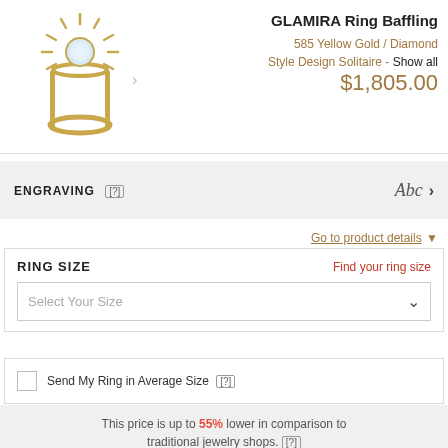[Figure (photo): Gold sun-burst style solitaire ring with diamond center stone on white background]
GLAMIRA Ring Baffling
585 Yellow Gold / Diamond
Style Design Solitaire - Show all
$1,805.00
ENGRAVING [?]
Abc >
Go to product details ▼
RING SIZE
Find your ring size
Select Your Size
Send My Ring in Average Size [?]
This price is up to 55% lower in comparison to traditional jewelry shops. [?]